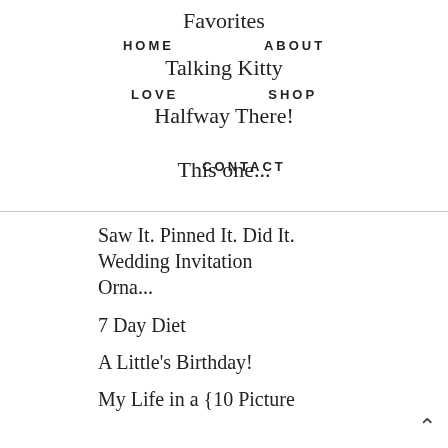Favorites
HOME
ABOUT
Talking Kitty
LOVE
SHOP
Halfway There!
This one... CONTACT
Saw It. Pinned It. Did It. Wedding Invitation Orna...
7 Day Diet
A Little's Birthday!
My Life in a {10 Picture